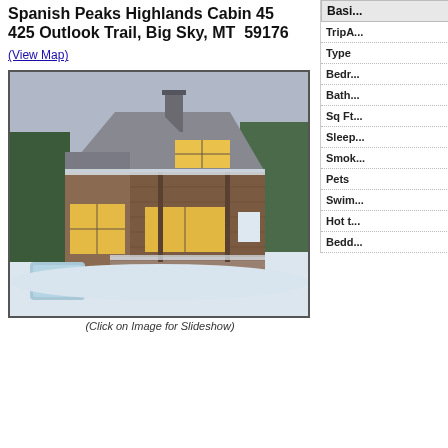Spanish Peaks Highlands Cabin 45
425 Outlook Trail, Big Sky, MT  59176
(View Map)
[Figure (photo): Exterior photo of a large rustic wooden cabin in winter snow conditions with warm interior lights glowing through large windows. A covered hot tub is visible in the foreground left.]
(Click on Image for Slideshow)
| Field | Value |
| --- | --- |
| Basic Info |  |
| TripA... |  |
| Type |  |
| Bedr... |  |
| Bath... |  |
| Sq Ft... |  |
| Sleep... |  |
| Smok... |  |
| Pets |  |
| Swim... |  |
| Hot t... |  |
| Bedd... |  |